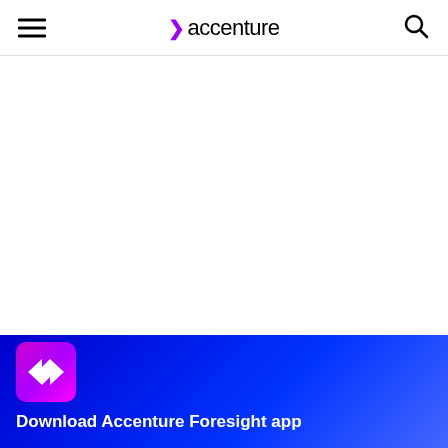accenture
[Figure (logo): Accenture logo with purple chevron and black text]
Download Accenture Foresight app